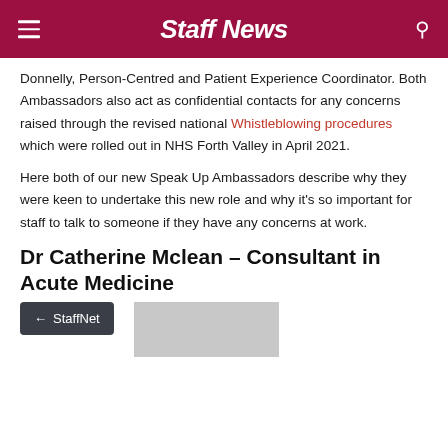Staff News
Donnelly, Person-Centred and Patient Experience Coordinator. Both Ambassadors also act as confidential contacts for any concerns raised through the revised national Whistleblowing procedures which were rolled out in NHS Forth Valley in April 2021.
Here both of our new Speak Up Ambassadors describe why they were keen to undertake this new role and why it's so important for staff to talk to someone if they have any concerns at work.
Dr Catherine Mclean – Consultant in Acute Medicine
← StaffNet